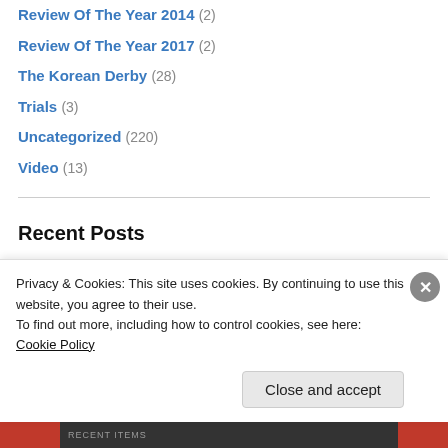Review Of The Year 2014 (2)
Review Of The Year 2017 (2)
The Korean Derby (28)
Trials (3)
Uncategorized (220)
Video (13)
Recent Posts
Korea Cup & Korea Sprint Sunday: Race-By-Race Preview (September 4)
Joe Fujii on Korea Cup & Sprint: “Japanese horses have an Advantage”
Seoul Trophy Exchange Saturday: Race-By-Race Preview (September
Privacy & Cookies: This site uses cookies. By continuing to use this website, you agree to their use.
To find out more, including how to control cookies, see here: Cookie Policy
Close and accept